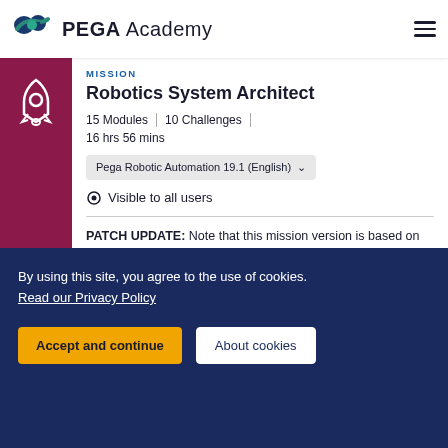PEGA Academy
MISSION
Robotics System Architect
15 Modules | 10 Challenges | 16 hrs 56 mins
Pega Robotic Automation 19.1 (English)
Visible to all users
PATCH UPDATE: Note that this mission version is based on 19.1.66 of Pega Robot Studio. Learn the basic functionality, process flow, terminology, and...
By using this site, you agree to the use of cookies.
Read our Privacy Policy
Accept and continue
About cookies